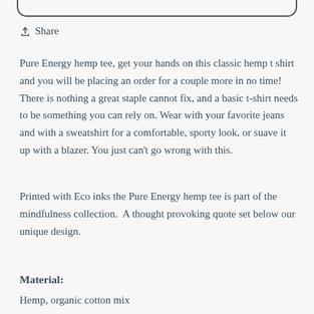[Figure (other): Rounded rectangle bottom border / UI element at top of page]
Share
Pure Energy hemp tee, get your hands on this classic hemp t shirt and you will be placing an order for a couple more in no time! There is nothing a great staple cannot fix, and a basic t-shirt needs to be something you can rely on. Wear with your favorite jeans and with a sweatshirt for a comfortable, sporty look, or suave it up with a blazer. You just can't go wrong with this.
Printed with Eco inks the Pure Energy hemp tee is part of the mindfulness collection.  A thought provoking quote set below our unique design.
Material:
Hemp, organic cotton mix